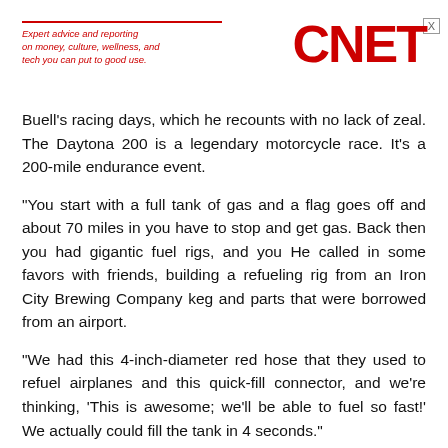[Figure (logo): CNET logo with red tagline bar and italic tagline text: Expert advice and reporting on money, culture, wellness, and tech you can put to good use.]
Buell's racing days, which he recounts with no lack of zeal. The Daytona 200 is a legendary motorcycle race. It's a 200-mile endurance event.
"You start with a full tank of gas and a flag goes off and about 70 miles in you have to stop and get gas. Back then you had gigantic fuel rigs, and you He called in some favors with friends, building a refueling rig from an Iron City Brewing Company keg and parts that were borrowed from an airport.
"We had this 4-inch-diameter red hose that they used to refuel airplanes and this quick-fill connector, and we're thinking, 'This is awesome; we'll be able to fuel so fast!' We actually could fill the tank in 4 seconds."
Buell pauses to deliver the sort of enthusiastic laugh only an engineer can give when talking about